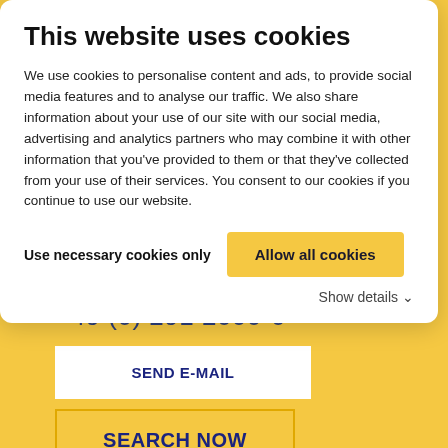This website uses cookies
We use cookies to personalise content and ads, to provide social media features and to analyse our traffic. We also share information about your use of our site with our social media, advertising and analytics partners who may combine it with other information that you've provided to them or that they've collected from your use of their services. You consent to our cookies if you continue to use our website.
Use necessary cookies only
Allow all cookies
Show details
Revenue Management / Reception
+49 (0) 291 2000-0
SEND E-MAIL
SEARCH NOW